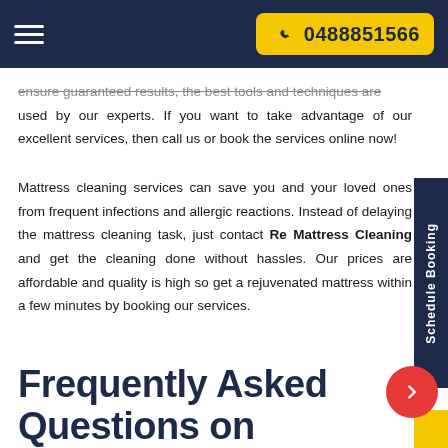0488851566
ensure guaranteed results, the best tools and techniques are used by our experts. If you want to take advantage of our excellent services, then call us or book the services online now!
Mattress cleaning services can save you and your loved ones from frequent infections and allergic reactions. Instead of delaying the mattress cleaning task, just contact Re Mattress Cleaning and get the cleaning done without hassles. Our prices are affordable and quality is high so get a rejuvenated mattress within a few minutes by booking our services.
Frequently Asked Questions on